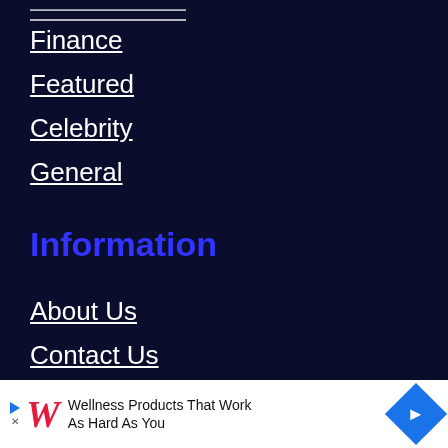Finance
Featured
Celebrity
General
Information
About Us
Contact Us
Privacy Policy
[Figure (other): Advertisement banner: Walgreens Wellness Products That Work As Hard As You]
Wellness Products That Work As Hard As You